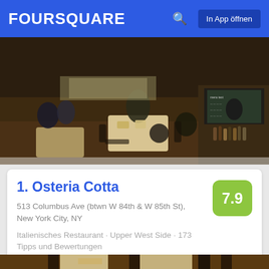FOURSQUARE  In App öffnen
[Figure (photo): Interior of restaurant shot from above, showing tables, chairs, bar area with bottles and chalkboard menu, patrons dining]
1. Osteria Cotta
513 Columbus Ave (btwn W 84th & W 85th St), New York City, NY
Italienisches Restaurant · Upper West Side · 173 Tipps und Bewertungen
[Figure (photo): Interior of a restaurant with cream-colored curtains, dark pillars, wooden tables and chairs, dimly lit ambiance]